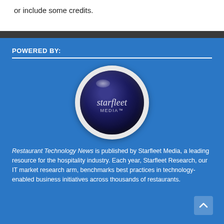or include some credits.
[Figure (logo): Starfleet Media logo: dark blue glossy sphere with white ring, text 'starfleet MEDIA™']
POWERED BY:
Restaurant Technology News is published by Starfleet Media, a leading resource for the hospitality industry. Each year, Starfleet Research, our IT market research arm, benchmarks best practices in technology-enabled business initiatives across thousands of restaurants.